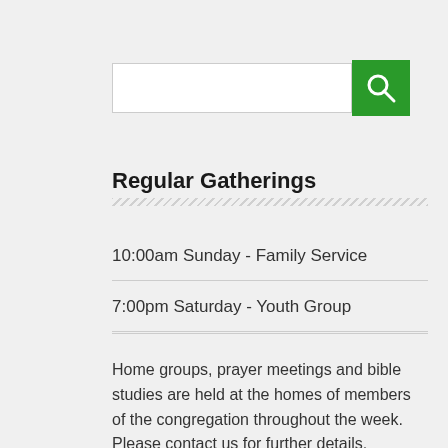[Figure (other): Search input box with green search button icon on the right]
Regular Gatherings
10:00am Sunday - Family Service
7:00pm Saturday - Youth Group
Home groups, prayer meetings and bible studies are held at the homes of members of the congregation throughout the week. Please contact us for further details.